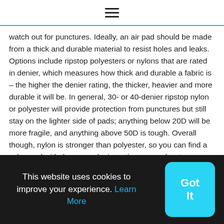☰
watch out for punctures. Ideally, an air pad should be made from a thick and durable material to resist holes and leaks. Options include ripstop polyesters or nylons that are rated in denier, which measures how thick and durable a fabric is – the higher the denier rating, the thicker, heavier and more durable it will be. In general, 30- or 40-denier ripstop nylon or polyester will provide protection from punctures but still stay on the lighter side of pads; anything below 20D will be more fragile, and anything above 50D is tough. Overall though, nylon is stronger than polyester, so you can find a nylon pad with the same denier rating as a polyester one, but the nylon pad will be lighter. Polyester though, is naturally resistant to wear from UV, while nylon will break
This website uses cookies to improve your experience. Learn More
Got It